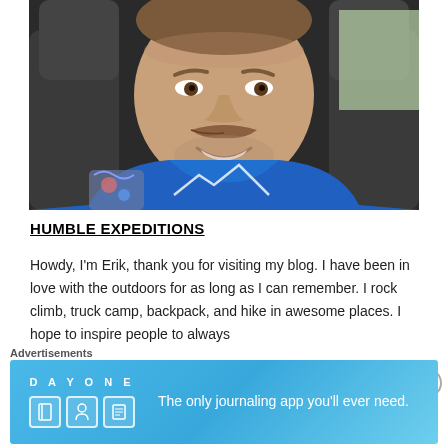[Figure (photo): A man with a mustache smiling in a car, wearing a blue t-shirt with a mountain graphic, visible tattoos on left arm]
HUMBLE EXPEDITIONS
Howdy, I'm Erik, thank you for visiting my blog. I have been in love with the outdoors for as long as I can remember. I rock climb, truck camp, backpack, and hike in awesome places. I hope to inspire people to always
Advertisements
[Figure (screenshot): Day One journaling app advertisement banner with icons and text 'The only journaling app you'll ever need.']